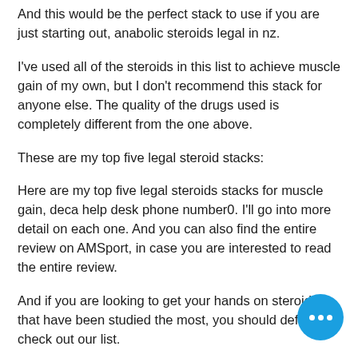And this would be the perfect stack to use if you are just starting out, anabolic steroids legal in nz.
I've used all of the steroids in this list to achieve muscle gain of my own, but I don't recommend this stack for anyone else. The quality of the drugs used is completely different from the one above.
These are my top five legal steroid stacks:
Here are my top five legal steroids stacks for muscle gain, deca help desk phone number0. I'll go into more detail on each one. And you can also find the entire review on AMSport, in case you are interested to read the entire review.
And if you are looking to get your hands on steroids that have been studied the most, you should definitely check out our list.